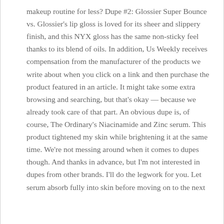makeup routine for less? Dupe #2: Glossier Super Bounce vs. Glossier's lip gloss is loved for its sheer and slippery finish, and this NYX gloss has the same non-sticky feel thanks to its blend of oils. In addition, Us Weekly receives compensation from the manufacturer of the products we write about when you click on a link and then purchase the product featured in an article. It might take some extra browsing and searching, but that's okay — because we already took care of that part. An obvious dupe is, of course, The Ordinary's Niacinamide and Zinc serum. This product tightened my skin while brightening it at the same time. We're not messing around when it comes to dupes though. And thanks in advance, but I'm not interested in dupes from other brands. I'll do the legwork for you. Let serum absorb fully into skin before moving on to the next